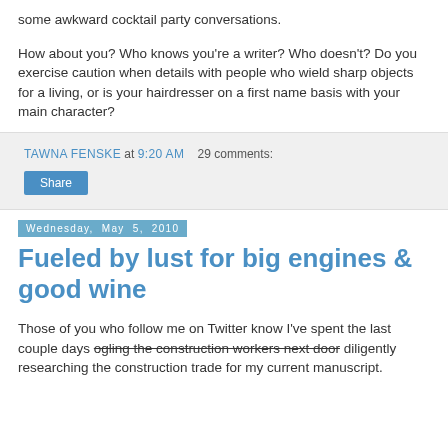some awkward cocktail party conversations.
How about you? Who knows you're a writer? Who doesn't? Do you exercise caution when details with people who wield sharp objects for a living, or is your hairdresser on a first name basis with your main character?
TAWNA FENSKE at 9:20 AM   29 comments:
Share
Wednesday, May 5, 2010
Fueled by lust for big engines & good wine
Those of you who follow me on Twitter know I've spent the last couple days ogling the construction workers next door diligently researching the construction trade for my current manuscript.